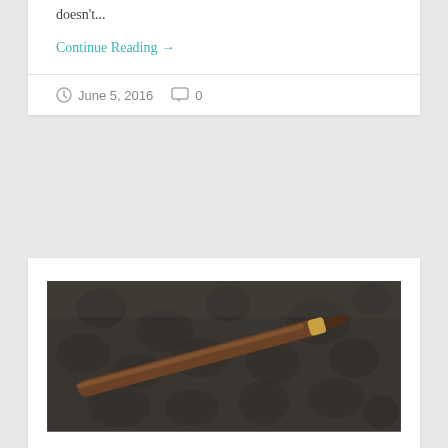doesn't...
Continue Reading →
June 5, 2016   0
Stuff that changed my 'getting ready' game!
[Figure (photo): Close-up photo of a brown and gold makeup brush or pen lying on a dark textured crocodile-skin leather surface]